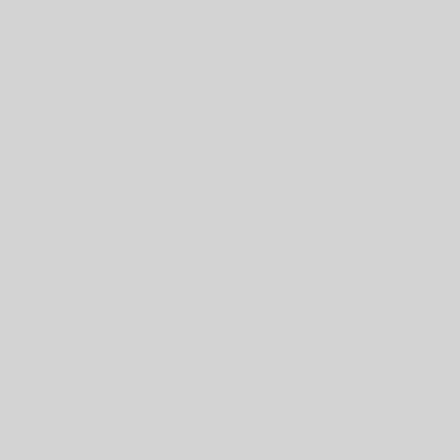Planets and Star Formation · Stellar S…
Protoplane…
Accretion a…
Photosphe…
Kinematic p…
[Figure (photo): Portrait photo of a young man with dark hair, smiling, wearing a blue checked shirt]
Homepage
Marchetti, Tommaso
Stellar Populations · Fellows
High veloci…
Milky Way s…
Gaia
Spectrosoc…
Personal Homepage
Miles Paez, Paulo Alberto
Stellar Structure and Evolution · Plane…
Search and…
Brown dwa…
Time series…
Personal Homepage
Miotello, Anna